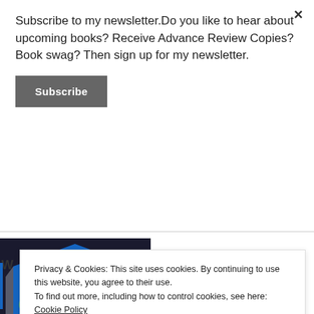Subscribe to my newsletter.Do you like to hear about upcoming books? Receive Advance Review Copies? Book swag? Then sign up for my newsletter.
Subscribe
[Figure (photo): A crystal award trophy with blue shield design showing '2014 Edmond' text, presented by an award organization]
Privacy & Cookies: This site uses cookies. By continuing to use this website, you agree to their use.
To find out more, including how to control cookies, see here: Cookie Policy
Close and accept